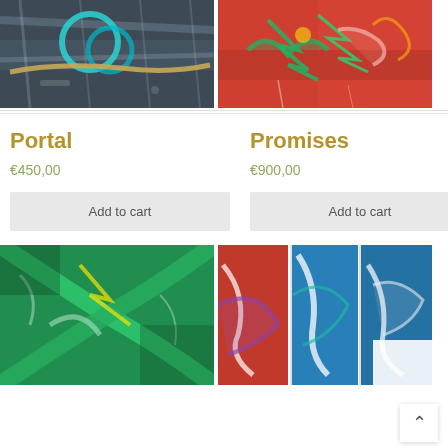[Figure (photo): Abstract painting with teal circular shapes and a diagonal rope/cord element on a grey textured background - artwork titled Portal]
[Figure (photo): Abstract painting with red background, green and yellow bird-like figures with dynamic brushstrokes - artwork titled Promises]
Portal
Promises
€450,00
€900,00
Add to cart
Add to cart
[Figure (photo): Abstract painting with dominant green brushstrokes forming an X pattern with white and yellow highlights]
[Figure (photo): Abstract painting triptych with red, blue and white dynamic brushstrokes across three panels]